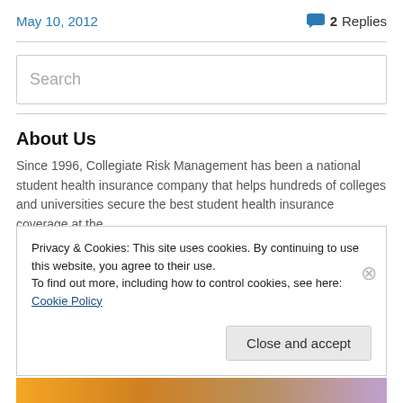May 10, 2012    💬 2 Replies
Search
About Us
Since 1996, Collegiate Risk Management has been a national student health insurance company that helps hundreds of colleges and universities secure the best student health insurance coverage at the
Privacy & Cookies: This site uses cookies. By continuing to use this website, you agree to their use.
To find out more, including how to control cookies, see here: Cookie Policy
Close and accept